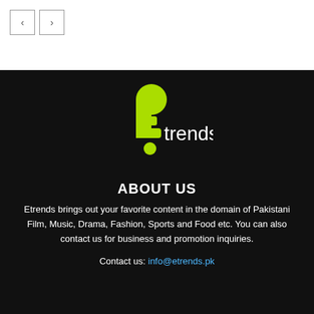[Figure (logo): Navigation arrows (left/right) in square bordered buttons]
[Figure (logo): Etrends logo: stylized green exclamation mark with letter E shape and 'trends' text in white on black background]
ABOUT US
Etrends brings out your favorite content in the domain of Pakistani Film, Music, Drama, Fashion, Sports and Food etc. You can also contact us for business and promotion inquiries.
Contact us: info@etrends.pk